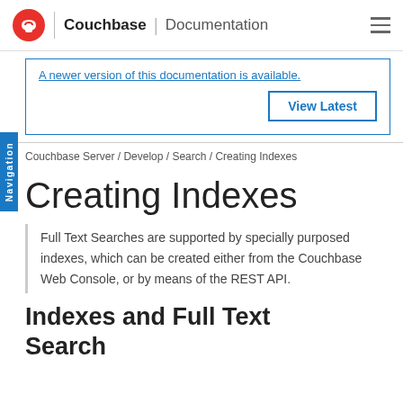Couchbase | Documentation
A newer version of this documentation is available.
View Latest
Couchbase Server / Develop / Search / Creating Indexes
Creating Indexes
Full Text Searches are supported by specially purposed indexes, which can be created either from the Couchbase Web Console, or by means of the REST API.
Indexes and Full Text Search